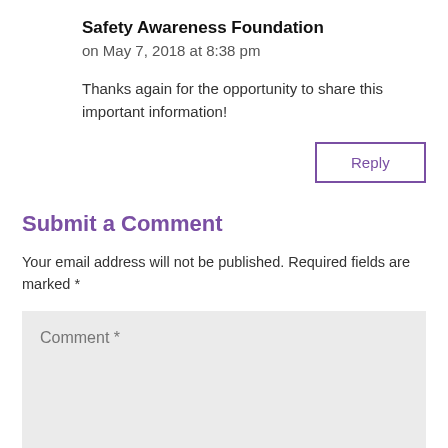Safety Awareness Foundation
on May 7, 2018 at 8:38 pm
Thanks again for the opportunity to share this important information!
Reply
Submit a Comment
Your email address will not be published. Required fields are marked *
Comment *